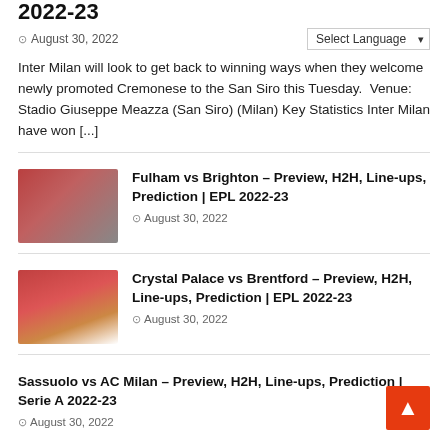2022-23
August 30, 2022
Inter Milan will look to get back to winning ways when they welcome newly promoted Cremonese to the San Siro this Tuesday.  Venue: Stadio Giuseppe Meazza (San Siro) (Milan) Key Statistics Inter Milan have won [...]
Fulham vs Brighton – Preview, H2H, Line-ups, Prediction | EPL 2022-23
August 30, 2022
Crystal Palace vs Brentford – Preview, H2H, Line-ups, Prediction | EPL 2022-23
August 30, 2022
Sassuolo vs AC Milan – Preview, H2H, Line-ups, Prediction | Serie A 2022-23
August 30, 2022